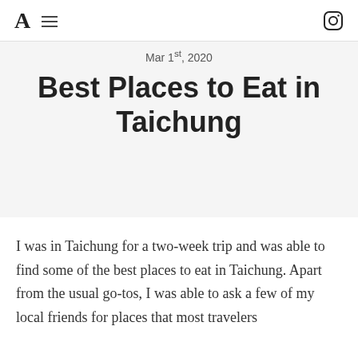A  ≡  [instagram icon]
Mar 1st, 2020
Best Places to Eat in Taichung
I was in Taichung for a two-week trip and was able to find some of the best places to eat in Taichung. Apart from the usual go-tos, I was able to ask a few of my local friends for places that most travelers